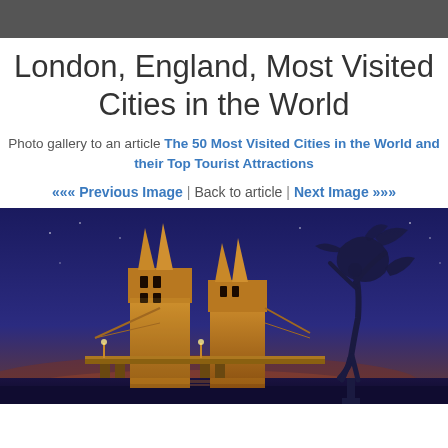London, England, Most Visited Cities in the World
Photo gallery to an article The 50 Most Visited Cities in the World and their Top Tourist Attractions
««« Previous Image | Back to article | Next Image »»»
[Figure (photo): Night photo of Tower Bridge in London with golden illumination on the left, and a bronze sculpture of a girl with a dolphin on the right, set against a deep blue twilight sky.]